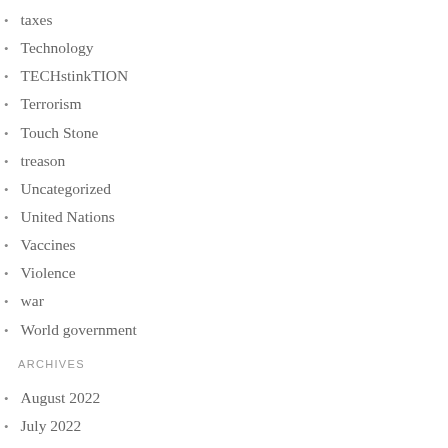taxes
Technology
TECHstinkTION
Terrorism
Touch Stone
treason
Uncategorized
United Nations
Vaccines
Violence
war
World government
ARCHIVES
August 2022
July 2022
June 2022